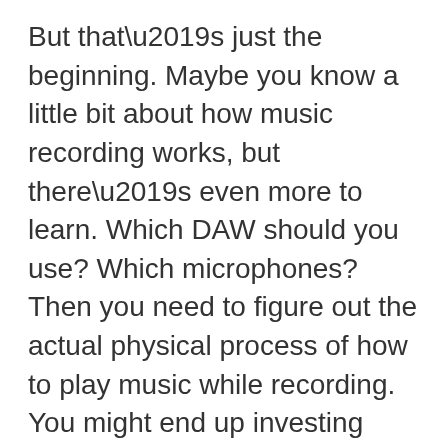But that’s just the beginning. Maybe you know a little bit about how music recording works, but there’s even more to learn. Which DAW should you use? Which microphones? Then you need to figure out the actual physical process of how to play music while recording. You might end up investing hard-earned cash in particular audio equipment but find the results lacking. Recording in a studio brings its own set of complications. Suddenly you’ve got to dissect you or your band’s work down into reproducible, standalone tracks. You’ll block out the studio for days at a time, and maybe get through a single song. Then